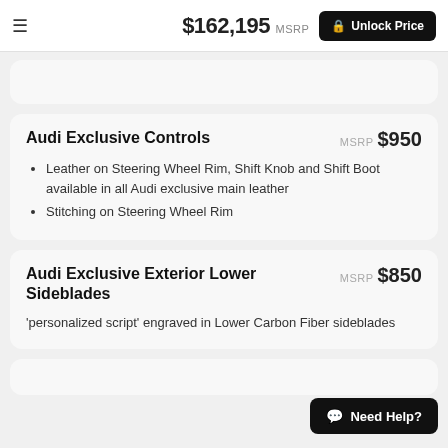$162,195 MSRP  Unlock Price
Audi Exclusive Controls
MSRP $950
Leather on Steering Wheel Rim, Shift Knob and Shift Boot available in all Audi exclusive main leather
Stitching on Steering Wheel Rim
Audi Exclusive Exterior Lower Sideblades
MSRP $850
'personalized script' engraved in Lower Carbon Fiber sideblades